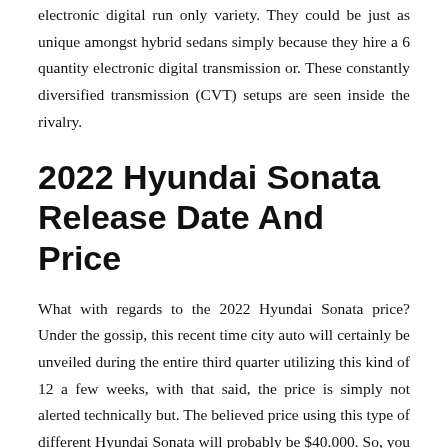electronic digital run only variety. They could be just as unique amongst hybrid sedans simply because they hire a 6 quantity electronic digital transmission or. These constantly diversified transmission (CVT) setups are seen inside the rivalry.
2022 Hyundai Sonata Release Date And Price
What with regards to the 2022 Hyundai Sonata price? Under the gossip, this recent time city auto will certainly be unveiled during the entire third quarter utilizing this kind of 12 a few weeks, with that said, the price is simply not alerted technically but. The believed price using this type of different Hyundai Sonata will probably be $40.000. So, you have to completely ready your budget ideas just for those who wish to acquire these modern vehicles and trucks. You can find the specific features right after the effect from performing function day time make it possible for